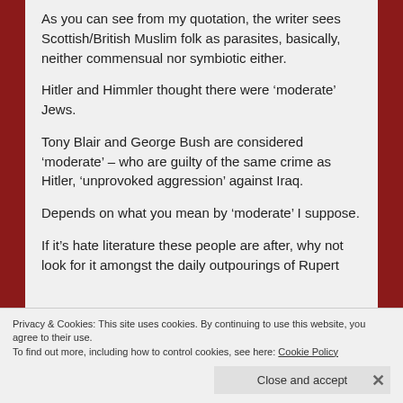As you can see from my quotation, the writer sees Scottish/British Muslim folk as parasites, basically, neither commensual nor symbiotic either.
Hitler and Himmler thought there were ‘moderate’ Jews.
Tony Blair and George Bush are considered ‘moderate’ – who are guilty of the same crime as Hitler, ‘unprovoked aggression’ against Iraq.
Depends on what you mean by ‘moderate’ I suppose.
If it’s hate literature these people are after, why not look for it amongst the daily outpourings of Rupert
Privacy & Cookies: This site uses cookies. By continuing to use this website, you agree to their use.
To find out more, including how to control cookies, see here: Cookie Policy
Close and accept